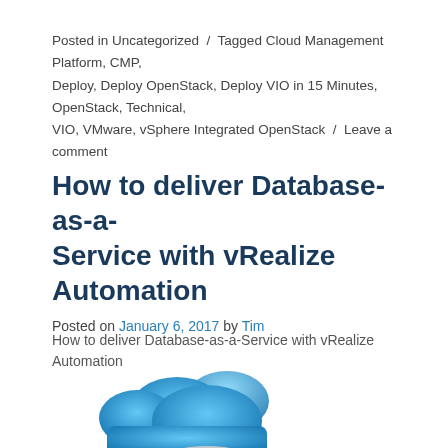Posted in Uncategorized / Tagged Cloud Management Platform, CMP, Deploy, Deploy OpenStack, Deploy VIO in 15 Minutes, OpenStack, Technical, VIO, VMware, vSphere Integrated OpenStack / Leave a comment
How to deliver Database-as-a-Service with vRealize Automation
Posted on January 6, 2017 by Tim
How to deliver Database-as-a-Service with vRealize Automation
[Figure (illustration): Blue cloud icon with a metallic database cylinder beneath it, partially visible at the bottom of the page]